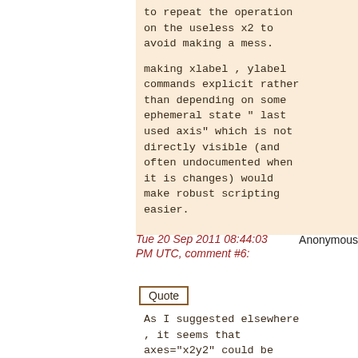to repeat the operation on the useless x2 to avoid making a mess.

making xlabel , ylabel commands explicit rather than depending on some ephemeral state " last used axis" which is not directly visible (and often undocumented when it is changes) would make robust scripting easier.
Tue 20 Sep 2011 08:44:03 PM UTC, comment #6:   Anonymous
Quote
As I suggested elsewhere , it seems that axes="x2y2" could be parsed by plot() within the existing code structure. This may make plotyy() redundant. (unless this is some matlab feature that you are attempting to